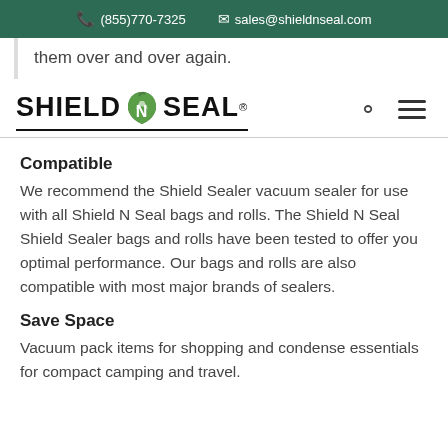(855)770-7325  sales@shieldnseal.com
them over and over again.
[Figure (logo): Shield N Seal logo with green apple/heart 'N' letter]
Compatible
We recommend the Shield Sealer vacuum sealer for use with all Shield N Seal bags and rolls. The Shield N Seal Shield Sealer bags and rolls have been tested to offer you optimal performance. Our bags and rolls are also compatible with most major brands of sealers.
Save Space
Vacuum pack items for shopping and condense essentials for compact camping and travel.